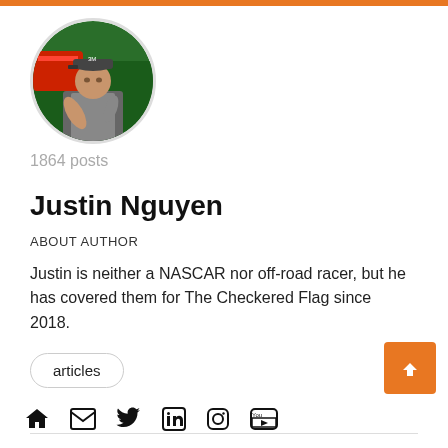[Figure (photo): Circular profile photo of Justin Nguyen, a man wearing a cap and vest, standing in front of a colorful race car backdrop with sponsor logos]
1864 posts
Justin Nguyen
ABOUT AUTHOR
Justin is neither a NASCAR nor off-road racer, but he has covered them for The Checkered Flag since 2018.
articles
[Figure (infographic): Social media icon links: home, email, Twitter, LinkedIn, Instagram, YouTube]